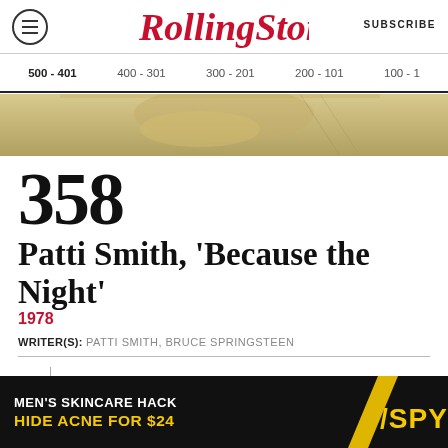Rolling Stone | SUBSCRIBE
500 - 401  400 - 301  300 - 201  200 - 101  100 - 1
[Figure (photo): Partial photo of album cover, golden/sepia toned]
358
Patti Smith, 'Because the Night'
1978
WRITER(S): PATTI SMITH, BRUCE SPRINGSTEEN
PLAY THE FULL SONG
Powered by Apple Music
[Figure (infographic): Advertisement banner: MEN'S SKINCARE HACK HIDE ACNE FOR $24 with SPY logo]